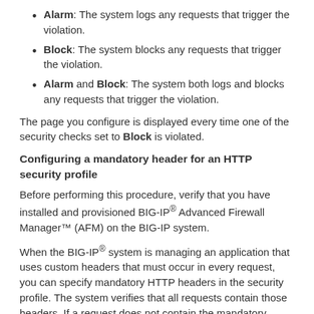Alarm: The system logs any requests that trigger the violation.
Block: The system blocks any requests that trigger the violation.
Alarm and Block: The system both logs and blocks any requests that trigger the violation.
The page you configure is displayed every time one of the security checks set to Block is violated.
Configuring a mandatory header for an HTTP security profile
Before performing this procedure, verify that you have installed and provisioned BIG-IP® Advanced Firewall Manager™ (AFM) on the BIG-IP system.
When the BIG-IP® system is managing an application that uses custom headers that must occur in every request, you can specify mandatory HTTP headers in the security profile. The system verifies that all requests contain those headers. If a request does not contain the mandatory header, the system issues the Mandatory HTTP header is missing violation, and